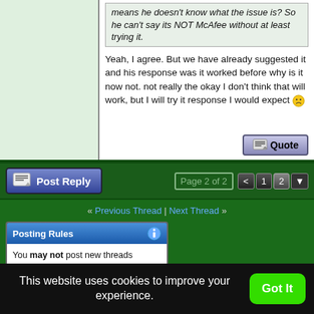means he doesn't know what the issue is? So he can't say its NOT McAfee without at least trying it. [quoted block, italic]
Yeah, I agree. But we have already suggested it and his response was it worked before why is it now not. not really the okay I don't think that will work, but I will try it response I would expect 😕
Post Reply | Page 2 of 2 | < | 1 | 2
« Previous Thread | Next Thread »
Posting Rules
You may not post new threads
You may not post replies
You may not post attachments
This website uses cookies to improve your experience.